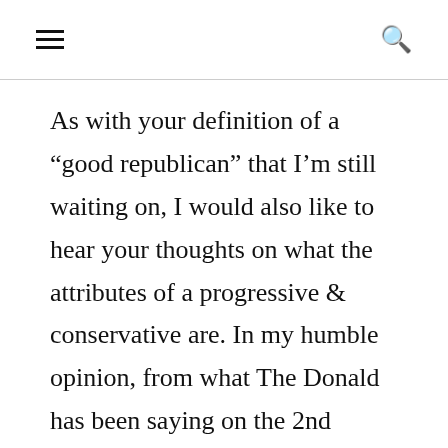≡  🔍
As with your definition of a “good republican” that I’m still waiting on, I would also like to hear your thoughts on what the attributes of a progressive & conservative are. In my humble opinion, from what The Donald has been saying on the 2nd Amendment, immigration, trade, SCOTUS appointments, repealing Obamacare, and a